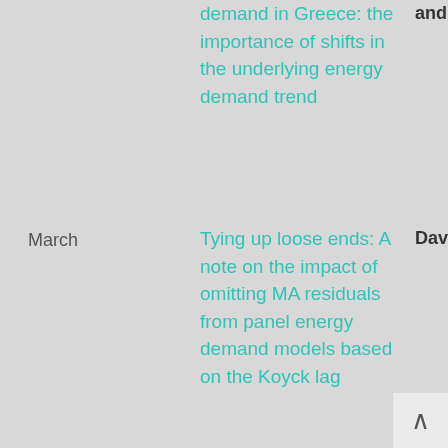demand in Greece: the importance of shifts in the underlying energy demand trend
and Eleni Papathanaso
March
Tying up loose ends: A note on the impact of omitting MA residuals from panel energy demand models based on the Koyck lag
David C Broa and Lester C